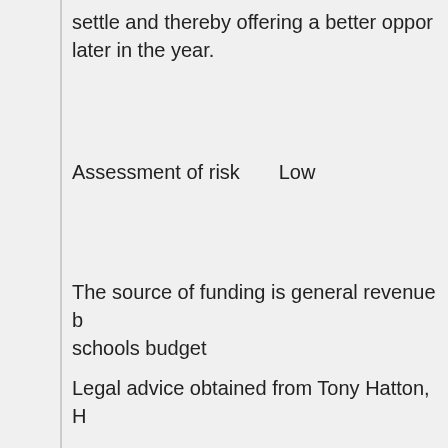settle and thereby offering a better opportunity later in the year.
Assessment of risk     Low
The source of funding is general revenue b schools budget
Legal advice obtained from Tony Hatton, H